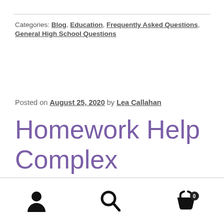Categories: Blog, Education, Frequently Asked Questions, General High School Questions
Posted on August 25, 2020 by Lea Callahan
Homework Help Complex Problems – Moving Deeper into
[person icon] [search icon] [cart icon with badge 0]